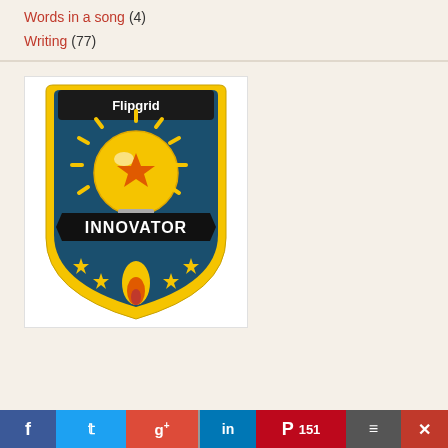Words in a song (4)
Writing (77)
[Figure (logo): Flipgrid Innovator badge: a shield-shaped badge with dark teal background featuring a yellow light bulb with a star, the text 'Flipgrid' at top and 'INNOVATOR' banner in the middle, with a rocket launching at the bottom surrounded by yellow stars]
Facebook | Twitter | Google+ | LinkedIn | Pinterest 151 | Menu | Close